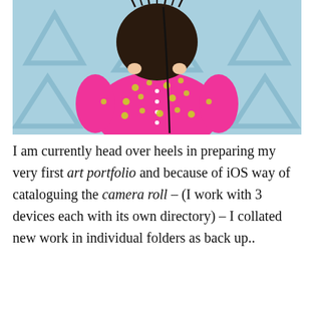[Figure (photo): Person wearing a bright pink shirt with pineapple pattern, facing away from camera, with dark furry hair/hat on top of head and a cable visible. Light blue background with large triangle/delta shapes repeated as a pattern.]
I am currently head over heels in preparing my very first art portfolio and because of iOS way of cataloguing the camera roll – (I work with 3 devices each with its own directory) – I collated new work in individual folders as back up..